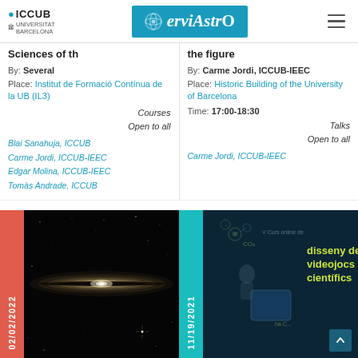ICCUB | ServiAstro
Sciences of th
By: Several
Place: Institut de Formació Contínua de la UB (IL3)
Courses
Open to all
Blai Sanahuja, ICCUB
Carme Jordi, ICCUB-IEEC
Edgar Molina, ICCUB-IEEC
Tomàs Andrade, ICCUB
the figure
By: Carme Jordi, ICCUB-IEEC
Place: Historic Building of the University of Barcelona
Time: 17:00-18:30
Talks
Open to all
Carme Jordi, ICCUB-IEEC
[Figure (photo): Galaxy image (edge-on spiral galaxy) against dark background, dated 02/02/2022]
[Figure (photo): V Curs online de disseny de videojocs cientifics promotional image with dark blue background and floating science icons, dated 11/19/2021]